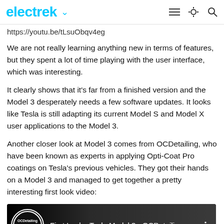electrek
https://youtu.be/tLsuObqv4eg
We are not really learning anything new in terms of features, but they spent a lot of time playing with the user interface, which was interesting.
It clearly shows that it's far from a finished version and the Model 3 desperately needs a few software updates. It looks like Tesla is still adapting its current Model S and Model X user applications to the Model 3.
Another closer look at Model 3 comes from OCDetailing, who have been known as experts in applying Opti-Coat Pro coatings on Tesla's previous vehicles. They got their hands on a Model 3 and managed to get together a pretty interesting first look video:
[Figure (screenshot): YouTube video thumbnail showing 'First Look - Tesla Model 3 - OCDetaili...' with OCDetailing logo on the left and video options icon on the right]